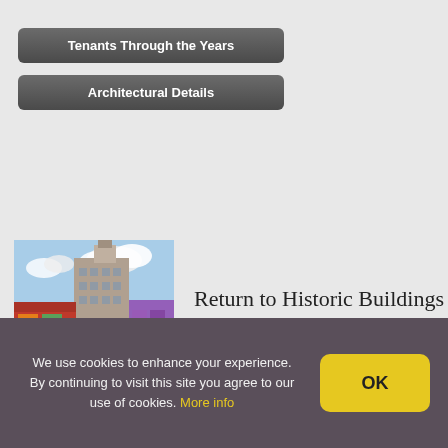Tenants Through the Years
Architectural Details
[Figure (photo): Historic street photo showing a multi-story brick building with a tower, surrounded by colorful storefronts and parked cars.]
Return to Historic Buildings
We use cookies to enhance your experience. By continuing to visit this site you agree to our use of cookies. More info